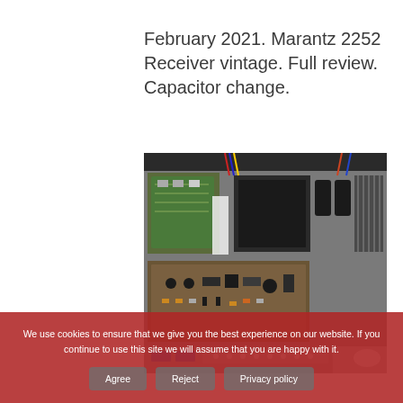February 2021. Marantz 2252 Receiver vintage. Full review. Capacitor change.
[Figure (photo): Interior of a Marantz 2252 vintage receiver showing circuit boards, transformer, capacitors, and heat sink viewed from above with the top cover removed.]
We use cookies to ensure that we give you the best experience on our website. If you continue to use this site we will assume that you are happy with it.